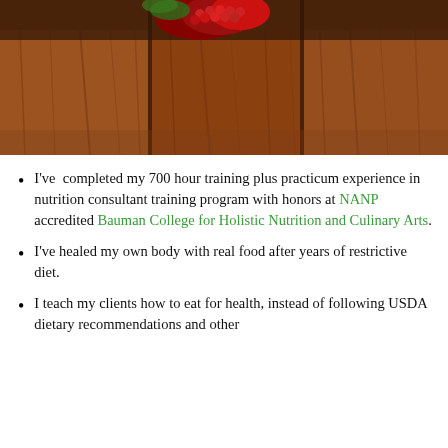[Figure (photo): Close-up photo of raspberries on wooden planks, warm brown wood grain texture visible with red raspberries at the top of the frame]
I've completed my 700 hour training plus practicum experience in nutrition consultant training program with honors at NANP accredited Bauman College for Holistic Nutrition and Culinary Arts.
I've healed my own body with real food after years of restrictive diet.
I teach my clients how to eat for health, instead of following USDA dietary recommendations and other